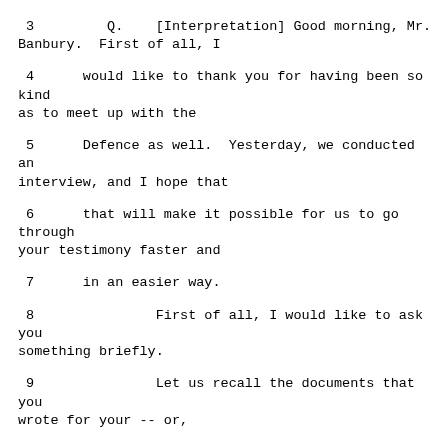3         Q.    [Interpretation] Good morning, Mr. Banbury.  First of all, I
4      would like to thank you for having been so kind as to meet up with the
5      Defence as well.  Yesterday, we conducted an interview, and I hope that
6      that will make it possible for us to go through your testimony faster and
7      in an easier way.
8               First of all, I would like to ask you something briefly.
9               Let us recall the documents that you wrote for your -- or,